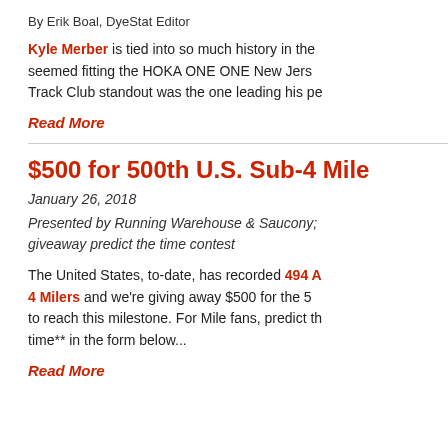By Erik Boal, DyeStat Editor
Kyle Merber is tied into so much history in the seemed fitting the HOKA ONE ONE New Jers Track Club standout was the one leading his pe
Read More
$500 for 500th U.S. Sub-4 Mile
January 26, 2018
Presented by Running Warehouse & Saucony; giveaway predict the time contest
The United States, to-date, has recorded 494 American Sub-4 Milers and we're giving away $500 for the 5 to reach this milestone. For Mile fans, predict th time** in the form below...
Read More